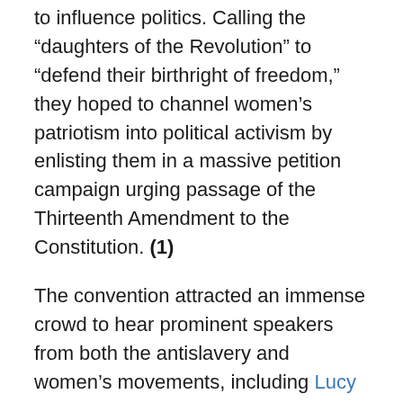to influence politics. Calling the “daughters of the Revolution” to “defend their birthright of freedom,” they hoped to channel women’s patriotism into political activism by enlisting them in a massive petition campaign urging passage of the Thirteenth Amendment to the Constitution. (1)
The convention attracted an immense crowd to hear prominent speakers from both the antislavery and women’s movements, including Lucy Stone, Angelina Grimke Weld, and Ernestine L. Rose. A fervent abolitionist since the late 1830s, Anthony expressed her dismay at the “great fear expressed on all sides lest this shall be made a war for the negro.” But she proclaimed, “I am willing that it shall be.” Like the Radical Republicans in Congress, Anthony believed the war was about slavery and that Lincoln should have freed the Southern slaves at the